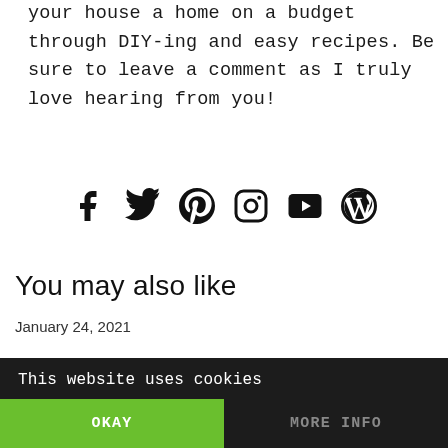your house a home on a budget through DIY-ing and easy recipes. Be sure to leave a comment as I truly love hearing from you!
[Figure (infographic): Row of six social media icons: Facebook, Twitter, Pinterest, Instagram, YouTube, WordPress]
You may also like
January 24, 2021
This website uses cookies | OKAY | MORE INFO